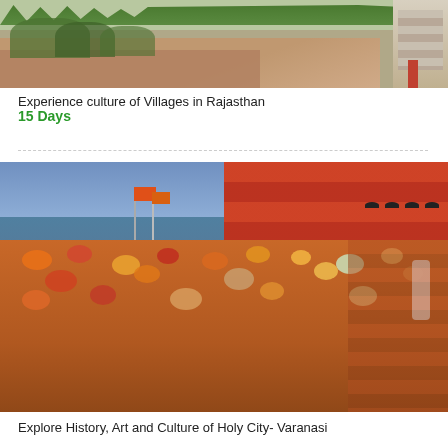[Figure (photo): A plaza or courtyard in Rajasthan with trees in the background, steps, and paved tiled ground area]
Experience culture of Villages in Rajasthan
15 Days
[Figure (photo): A crowded ghat (riverbank) in Varanasi with colorfully dressed pilgrims, boats on the river, orange flags, and red temple buildings in the background]
Explore History, Art and Culture of Holy City- Varanasi